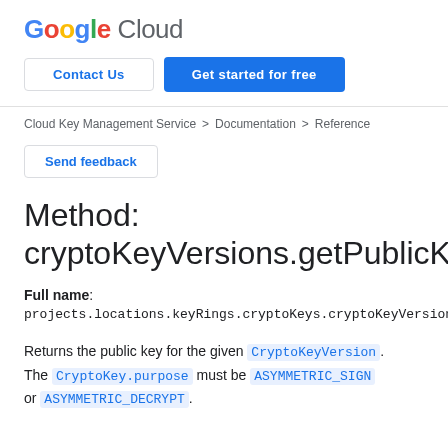Google Cloud
Contact Us | Get started for free
Cloud Key Management Service > Documentation > Reference
Send feedback
Method: cryptoKeyVersions.getPublicKey
Full name:
projects.locations.keyRings.cryptoKeys.cryptoKeyVersions.ge
Returns the public key for the given CryptoKeyVersion. The CryptoKey.purpose must be ASYMMETRIC_SIGN or ASYMMETRIC_DECRYPT.